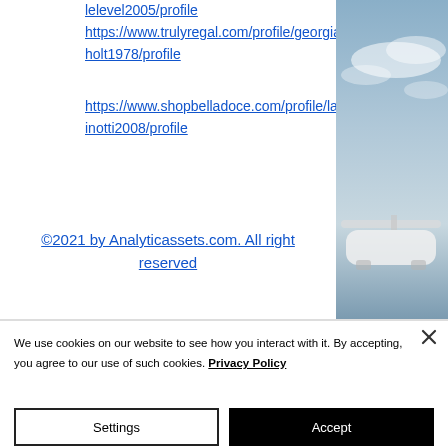lelevel2005/profile
https://www.trulyregal.com/profile/georgiawie derholt1978/profile
https://www.shopbelladoce.com/profile/lakita cominotti2008/profile
[Figure (photo): Photo of a helicopter or aircraft against a sky with clouds, partial view on right side of page]
©2021 by Analyticassets.com. All right reserved
We use cookies on our website to see how you interact with it. By accepting, you agree to our use of such cookies. Privacy Policy
Settings
Accept